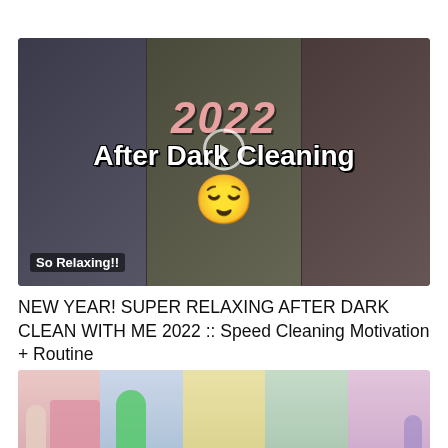[Figure (screenshot): YouTube video thumbnail showing a woman loading a dishwasher on the left panel, a couple cleaning in a kitchen in the center panel, and a hand holding a dirty woven mat on the right panel. Overlaid text reads '2022 After Dark Cleaning' with a relaxed face emoji and 'So Relaxing!!' in the lower left.]
NEW YEAR! SUPER RELAXING AFTER DARK CLEAN WITH ME 2022 :: Speed Cleaning Motivation + Routine
[Figure (screenshot): Thumbnail showing colorful children's toys and dolls including a Frozen doll, a pink toy house, and a green toy item.]